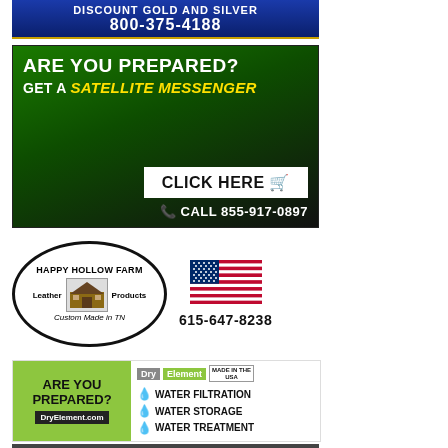[Figure (illustration): Discount Gold and Silver banner ad with phone number 800-375-4188 on patriotic blue background]
[Figure (illustration): Are You Prepared? Get a Satellite Messenger. Click Here. Call 855-917-0897. Green background with device image.]
[Figure (illustration): Happy Hollow Farm Leather Products Custom Made in TN logo with American flag and phone number 615-647-8238]
[Figure (illustration): Are You Prepared? DryElement.com ad with Dry Element Water Filtration, Water Storage, Water Treatment]
[Figure (illustration): Partial bottom banner ad with dark background]